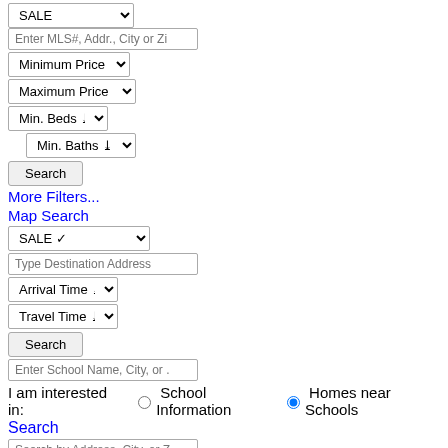SALE (dropdown, partial, top)
Enter MLS#, Addr., City or Zip (input)
Minimum Price (dropdown)
Maximum Price (dropdown)
Min. Beds (dropdown)
Min. Baths (dropdown)
Search (button)
More Filters...
Map Search
SALE (dropdown)
Type Destination Address (input)
Arrival Time (dropdown)
Travel Time (dropdown)
Search (button)
Enter School Name, City, or ... (input)
I am interested in:   School Information   Homes near Schools
Search
Search by Address, City, or Z (input)
Search
Search Recently Sold (Houston Area Only) →